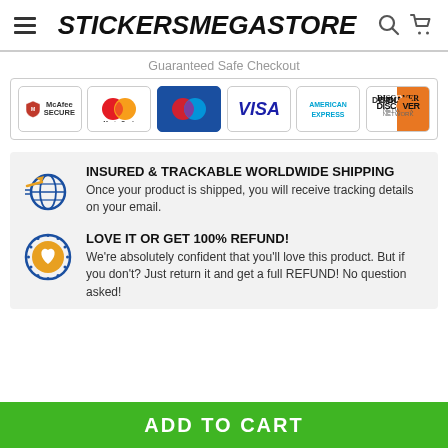STICKERSMEGASTORE
Guaranteed Safe Checkout
[Figure (infographic): Payment badges: McAfee SECURE, MasterCard, Maestro, VISA, American Express, Discover Network]
INSURED & TRACKABLE WORLDWIDE SHIPPING
Once your product is shipped, you will receive tracking details on your email.
LOVE IT OR GET 100% REFUND!
We're absolutely confident that you'll love this product. But if you don't? Just return it and get a full REFUND! No question asked!
ADD TO CART